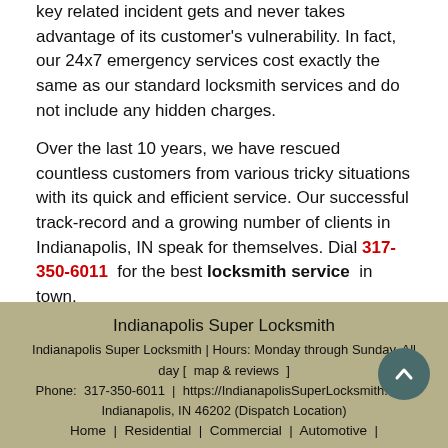key related incident gets and never takes advantage of its customer's vulnerability. In fact, our 24x7 emergency services cost exactly the same as our standard locksmith services and do not include any hidden charges.
Over the last 10 years, we have rescued countless customers from various tricky situations with its quick and efficient service. Our successful track-record and a growing number of clients in Indianapolis, IN speak for themselves. Dial 317-350-6011 for the best locksmith service in town.
Indianapolis Super Locksmith | Indianapolis Super Locksmith | Hours: Monday through Sunday, All day [ map & reviews ] | Phone: 317-350-6011 | https://IndianapolisSuperLocksmith.com | Indianapolis, IN 46202 (Dispatch Location) | Home | Residential | Commercial | Automotive |